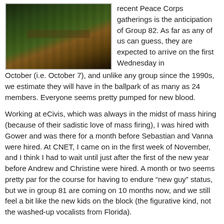[Figure (photo): Outdoor photo showing a paved pathway or sidewalk with dark green foliage/trees overhead, taken from a low angle looking down the path. Dark tones with yellow-green and brown hues.]
recent Peace Corps gatherings is the anticipation of Group 82. As far as any of us can guess, they are expected to arrive on the first Wednesday in October (i.e. October 7), and unlike any group since the 1990s, we estimate they will have in the ballpark of as many as 24 members. Everyone seems pretty pumped for new blood.
Working at eCivis, which was always in the midst of mass hiring (because of their sadistic love of mass firing), I was hired with Gower and was there for a month before Sebastian and Vanna were hired. At CNET, I came on in the first week of November, and I think I had to wait until just after the first of the new year before Andrew and Christine were hired. A month or two seems pretty par for the course for having to endure “new guy” status, but we in group 81 are coming on 10 months now, and we still feel a bit like the new kids on the block (the figurative kind, not the washed-up vocalists from Florida).